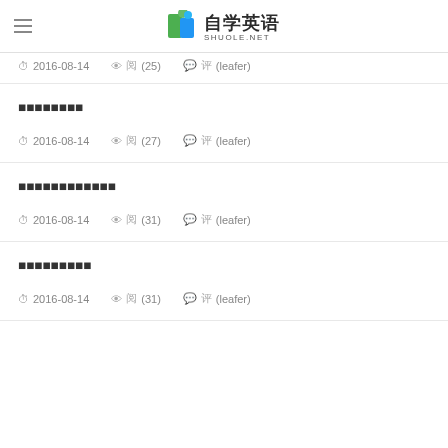自学英语 SHUOLE.NET
2016-08-14  阅(25)  评(leafer)
■■■■■■■■
2016-08-14  阅(27)  评(leafer)
■■■■■■■■■■■■
2016-08-14  阅(31)  评(leafer)
■■■■■■■■■
2016-08-14  阅(31)  评(leafer)